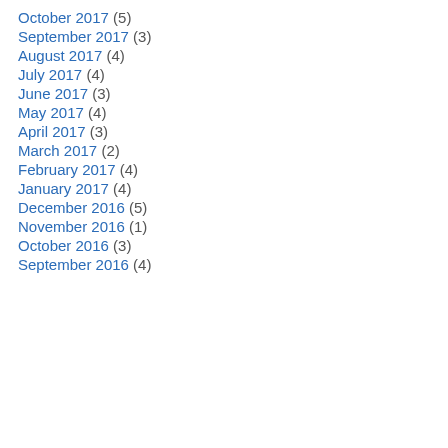October 2017 (5)
September 2017 (3)
August 2017 (4)
July 2017 (4)
June 2017 (3)
May 2017 (4)
April 2017 (3)
March 2017 (2)
February 2017 (4)
January 2017 (4)
December 2016 (5)
November 2016 (1)
October 2016 (3)
September 2016 (4)